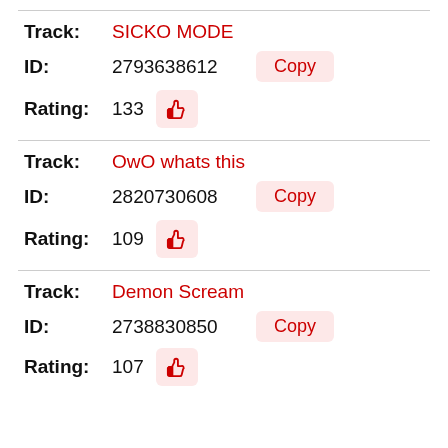Track: SICKO MODE
ID: 2793638612
Rating: 133
Track: OwO whats this
ID: 2820730608
Rating: 109
Track: Demon Scream
ID: 2738830850
Rating: 107